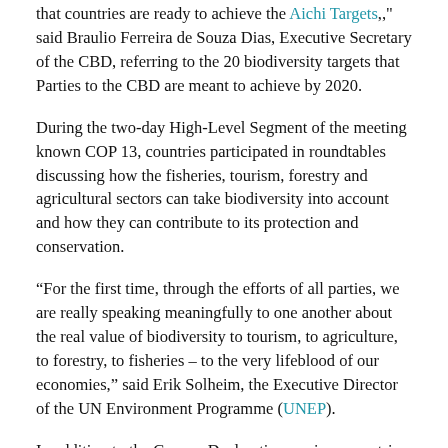that countries are ready to achieve the Aichi Targets," said Braulio Ferreira de Souza Dias, Executive Secretary of the CBD, referring to the 20 biodiversity targets that Parties to the CBD are meant to achieve by 2020.
During the two-day High-Level Segment of the meeting known COP 13, countries participated in roundtables discussing how the fisheries, tourism, forestry and agricultural sectors can take biodiversity into account and how they can contribute to its protection and conservation.
“For the first time, through the efforts of all parties, we are really speaking meaningfully to one another about the real value of biodiversity to tourism, to agriculture, to forestry, to fisheries – to the very lifeblood of our economies,” said Erik Solheim, the Executive Director of the UN Environment Programme (UNEP).
In addition to the Cancun Declaration, various countries announced on Saturday their own commitments to accelerate action to meet the Targets’ deadline in less than four years. These commitments included:
Presented by Guatemala, a commitment by the Like Minded